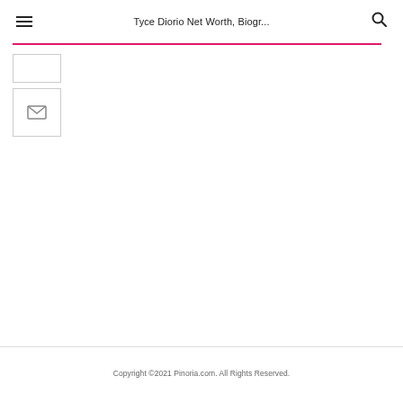Tyce Diorio Net Worth, Biogr...
[Figure (screenshot): Two social share buttons: one small rectangular button and one square email/envelope button, stacked vertically on the left side]
Copyright ©2021 Pinoria.com. All Rights Reserved.